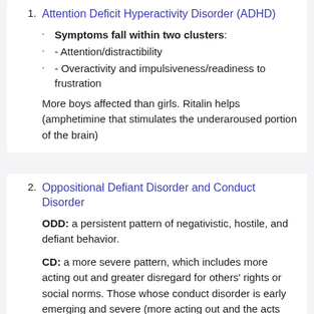1. Attention Deficit Hyperactivity Disorder (ADHD)
Symptoms fall within two clusters:
- Attention/distractibility
- Overactivity and impulsiveness/readiness to frustration
More boys affected than girls. Ritalin helps (amphetimine that stimulates the underaroused portion of the brain)
2. Oppositional Defiant Disorder and Conduct Disorder
ODD: a persistent pattern of negativistic, hostile, and defiant behavior.
CD: a more severe pattern, which includes more acting out and greater disregard for others' rights or social norms. Those whose conduct disorder is early emerging and severe (more acting out and the acts are more serious), tend to show a developmental pattern of Oppositional Defiant Disorder followed by Conduct